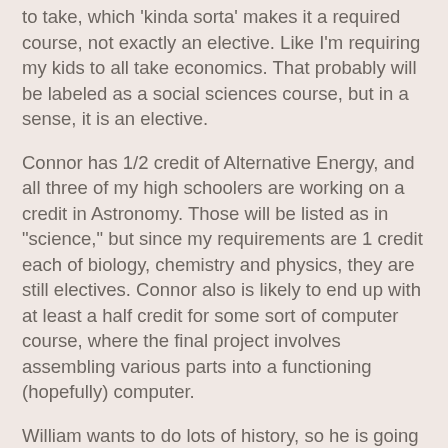to take, which 'kinda sorta' makes it a required course, not exactly an elective.  Like I'm requiring my kids to all take economics.  That probably will be labeled as a social sciences course, but in a sense, it is an elective.
Connor has 1/2 credit of Alternative Energy, and all three of my high schoolers are working on a credit in Astronomy.  Those will be listed as in "science," but since my requirements are 1 credit each of biology, chemistry and physics, they are still electives.  Connor also is likely to end up with at least a half credit for some sort of computer course, where the final project involves assembling various parts into a functioning (hopefully) computer.
William wants to do lots of history, so he is going to have a lot listed in that category.  Which is completely okay.
Thomas wants to take art classes, and still has interest in a Biblical Archaeology class.
So what if none of their electives scream out and holler for attention from anyone looking at their transcripts.  That's not